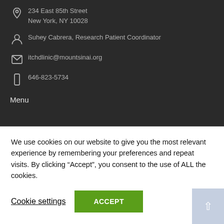234 East 85th Street
New York, NY 10028
Suhey Cabrera, Research Patient Coordinator
itchclinic@mountsinai.org
646-823-5734
Menu
We use cookies on our website to give you the most relevant experience by remembering your preferences and repeat visits. By clicking “Accept”, you consent to the use of ALL the cookies.
Cookie settings
ACCEPT